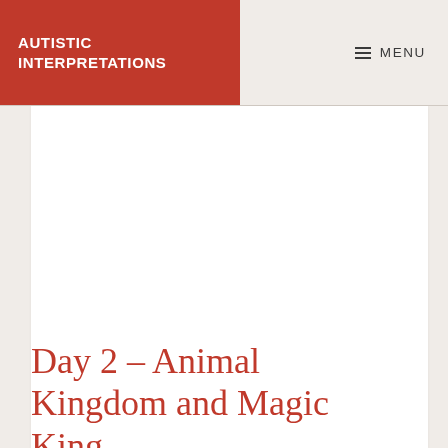AUTISTIC INTERPRETATIONS
MENU
Day 2 – Animal Kingdom and Magic King...